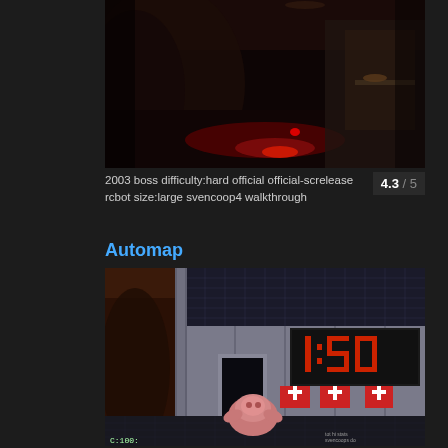[Figure (screenshot): Dark reddish first-person game screenshot showing an organic corridor with red glowing elements on the floor and ceiling]
2003 boss difficulty:hard official official-screlease rcbot size:large svencoop4 walkthrough
4.3 / 5
Automap
[Figure (screenshot): Game screenshot showing a large room with metallic walls, a red digital countdown clock showing 1:50, medical packs on the wall, and a creature/enemy in the foreground]